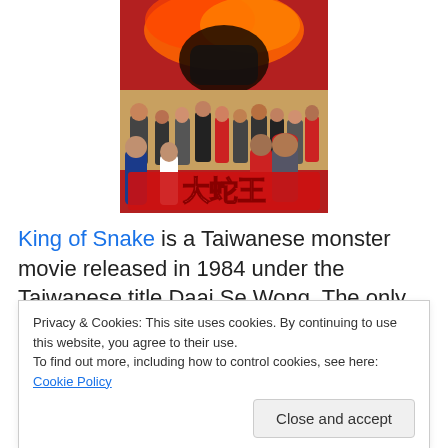[Figure (photo): Movie poster for 'King of Snake' (Daai Se Wong), a 1984 Taiwanese monster movie. Shows a crowd of people, actors, with dramatic red and orange explosion/fire imagery at the top, and large red Chinese characters at the bottom.]
King of Snake is a Taiwanese monster movie released in 1984 under the Taiwanese title Daai Se Wong. The only
Privacy & Cookies: This site uses cookies. By continuing to use this website, you agree to their use.
To find out more, including how to control cookies, see here: Cookie Policy
Close and accept
with no subtitles and I have been unable to find any other